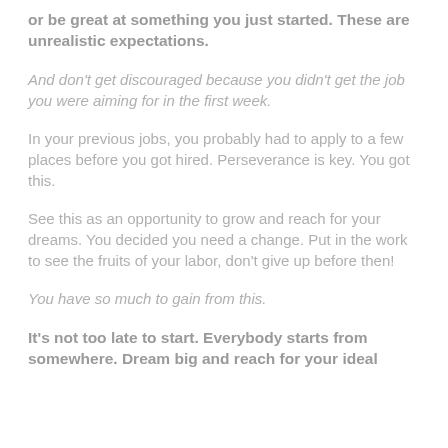or be great at something you just started. These are unrealistic expectations.
And don't get discouraged because you didn't get the job you were aiming for in the first week.
In your previous jobs, you probably had to apply to a few places before you got hired. Perseverance is key. You got this.
See this as an opportunity to grow and reach for your dreams. You decided you need a change. Put in the work to see the fruits of your labor, don't give up before then!
You have so much to gain from this.
It's not too late to start. Everybody starts from somewhere. Dream big and reach for your ideal